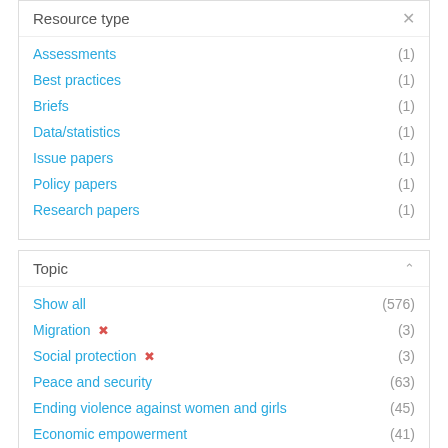Resource type
Assessments (1)
Best practices (1)
Briefs (1)
Data/statistics (1)
Issue papers (1)
Policy papers (1)
Research papers (1)
Topic
Show all (576)
Migration ✕ (3)
Social protection ✕ (3)
Peace and security (63)
Ending violence against women and girls (45)
Economic empowerment (41)
Gender equality and women's empowerment (41)